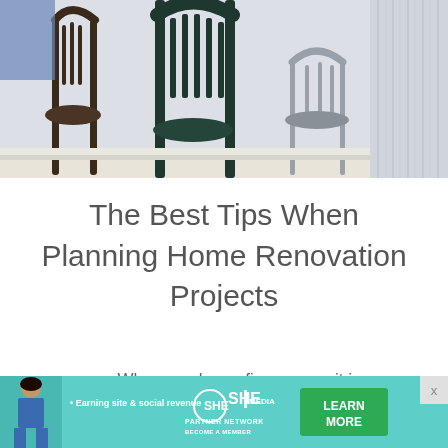[Figure (photo): Photo of dark Windsor-style chairs and a light metal chair against a white wainscoting wall with striped panel on right side]
The Best Tips When Planning Home Renovation Projects
When you buy a fixer-upper, it is
[Figure (infographic): SHE Media advertisement banner with woman photo on left, bullet point 'Earning site & social revenue', SHE PARTNER NETWORK logo in center, green LEARN MORE button on right, BECOME A MEMBER text below logo]